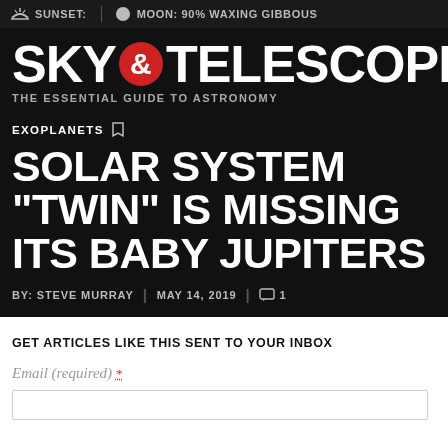SUNSET:  |  MOON: 90% WAXING GIBBOUS
[Figure (logo): Sky & Telescope logo with red circle ampersand and tagline THE ESSENTIAL GUIDE TO ASTRONOMY]
EXOPLANETS
SOLAR SYSTEM "TWIN" IS MISSING ITS BABY JUPITERS
BY: STEVE MURRAY  |  MAY 14, 2019  |  1
GET ARTICLES LIKE THIS SENT TO YOUR INBOX
Email (required) *